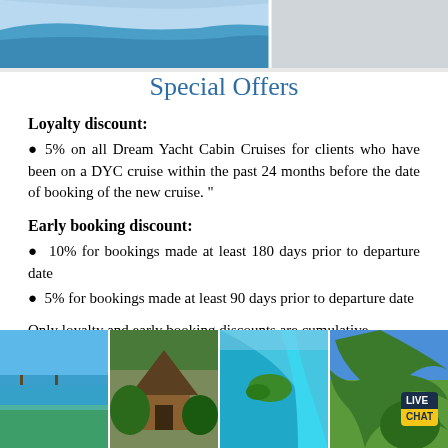[Figure (photo): Partial top image showing tropical ocean scene with light blue water and sky]
Special Offers
Loyalty discount:
5% on all Dream Yacht Cabin Cruises for clients who have been on a DYC cruise within the past 24 months before the date of booking of the new cruise. "
Early booking discount:
10% for bookings made at least 180 days prior to departure date
5% for bookings made at least 90 days prior to departure date
Only loyalty and early booking discounts are cumulative
[Figure (photo): Four tropical destination photos at bottom: beach with palm trees, wooden gazebo/hut, aerial turquoise water view, palm fronds]
[Figure (photo): Live Chat button overlay on last photo]
[Figure (photo): Aerial view of turquoise water and tropical island]
[Figure (photo): Palm tree close-up with Live Chat badge]